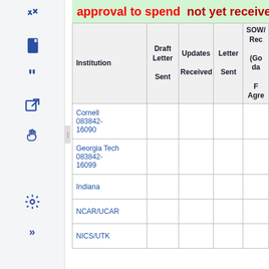approval to spend   not yet received
| Institution | Draft Letter Sent | Updates Received | Letter Sent | SOW/Rec (Go da F Agre |
| --- | --- | --- | --- | --- |
| Cornell 083842-16090 |  |  |  |  |
| Georgia Tech 083842-16099 |  |  |  |  |
| Indiana |  |  |  |  |
| NCAR/UCAR |  |  |  |  |
| NICS/UTK |  |  |  |  |